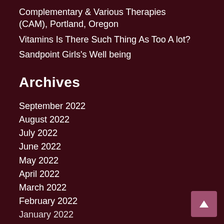Complementary & Various Therapies (CAM), Portland, Oregon
Vitamins Is There Such Thing As Too A lot?
Sandpoint Girls's Well being
Archives
September 2022
August 2022
July 2022
June 2022
May 2022
April 2022
March 2022
February 2022
January 2022